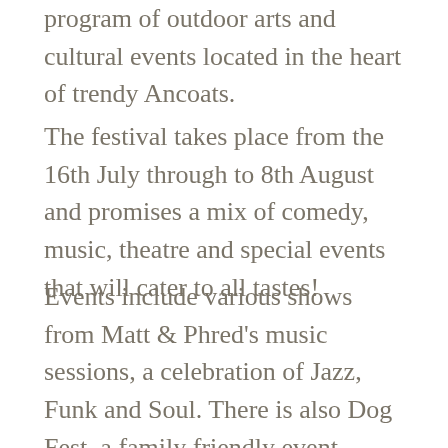program of outdoor arts and cultural events located in the heart of trendy Ancoats.
The festival takes place from the 16th July through to 8th August and promises a mix of comedy, music, theatre and special events that will cater to all tastes!
Events include various shows from Matt & Phred's music sessions, a celebration of Jazz, Funk and Soul. There is also Dog Fest, a family friendly event, showcasing some talented, paw-fect pooches, hosted by Hope Mill Patron Hayley Tamaddon. In addition,there is a tip of the hat to some iconic mega stars, including Dolly Parton, with The Dolly Show, performed by one of the best Dolly impersonators around; as well as a musical extravagance in the form